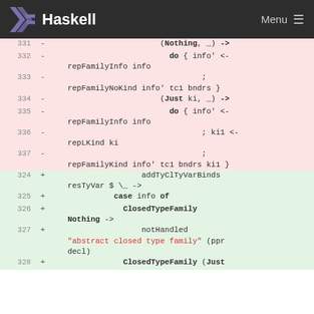Haskell  Menu
Code diff showing Haskell source lines 331-328, with removed lines (pink background) and added lines (green background).